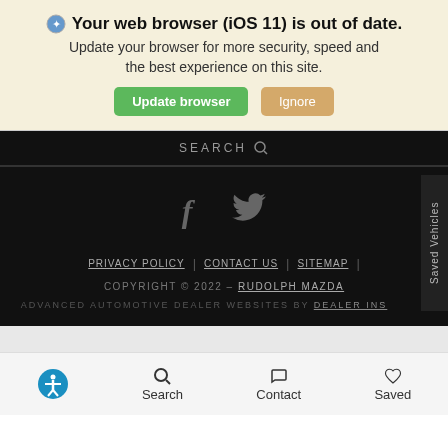Your web browser (iOS 11) is out of date. Update your browser for more security, speed and the best experience on this site.
[Figure (screenshot): Browser update banner with 'Update browser' green button and 'Ignore' tan button]
[Figure (screenshot): Search bar with SEARCH text on black background]
[Figure (screenshot): Dark footer with Facebook and Twitter social icons, navigation links (PRIVACY POLICY, CONTACT US, SITEMAP), copyright 2022 Rudolph Mazda, dealer websites credit, and Saved Vehicles tab]
Accessibility | Search | Contact | Saved